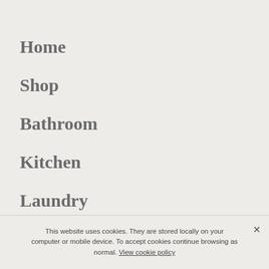Home
Shop
Bathroom
Kitchen
Laundry
Or…
This website uses cookies. They are stored locally on your computer or mobile device. To accept cookies continue browsing as normal. View cookie policy